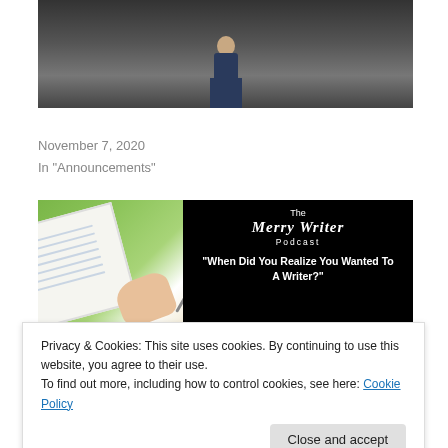[Figure (photo): Photo of a person standing in a room, partially visible from waist down, wearing jeans]
Five Years of Blogging
November 7, 2020
In "Announcements"
[Figure (photo): The Merry Writer Podcast image with text: 'When Did You Realize You Wanted To A Writer?' overlaid on black background with notebook photo on left side]
Privacy & Cookies: This site uses cookies. By continuing to use this website, you agree to their use.
To find out more, including how to control cookies, see here: Cookie Policy
Close and accept
In "Announcements"